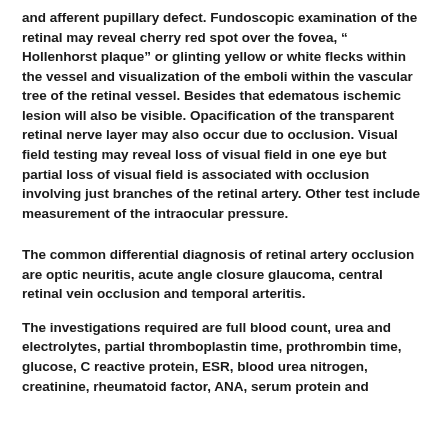and afferent pupillary defect. Fundoscopic examination of the retinal may reveal cherry red spot over the fovea, “ Hollenhorst plaque” or glinting yellow or white flecks within the vessel and visualization of the emboli within the vascular tree of the retinal vessel. Besides that edematous ischemic lesion will also be visible. Opacification of the transparent retinal nerve layer may also occur due to occlusion. Visual field testing may reveal loss of visual field in one eye but partial loss of visual field is associated with occlusion involving just branches of the retinal artery. Other test include measurement of the intraocular pressure.
The common differential diagnosis of retinal artery occlusion are optic neuritis, acute angle closure glaucoma, central retinal vein occlusion and temporal arteritis.
The investigations required are full blood count, urea and electrolytes, partial thromboplastin time, prothrombin time, glucose, C reactive protein, ESR, blood urea nitrogen, creatinine, rheumatoid factor, ANA, serum protein and